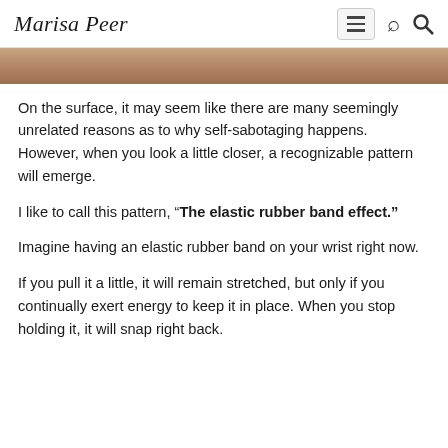Marisa Peer
[Figure (photo): Partial photo of a person, cropped strip visible at top of content area]
On the surface, it may seem like there are many seemingly unrelated reasons as to why self-sabotaging happens. However, when you look a little closer, a recognizable pattern will emerge.
I like to call this pattern, “The elastic rubber band effect.”
Imagine having an elastic rubber band on your wrist right now.
If you pull it a little, it will remain stretched, but only if you continually exert energy to keep it in place. When you stop holding it, it will snap right back.